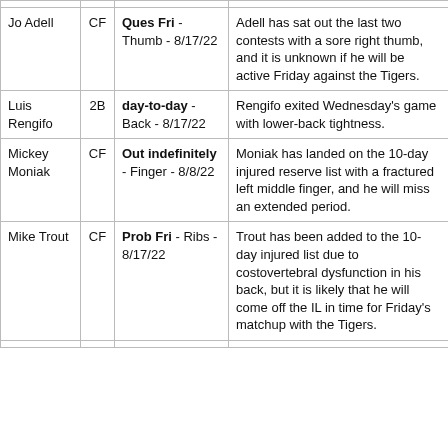| Player | Pos | Status | Notes |
| --- | --- | --- | --- |
| Jo Adell | CF | Ques Fri - Thumb - 8/17/22 | Adell has sat out the last two contests with a sore right thumb, and it is unknown if he will be active Friday against the Tigers. |
| Luis Rengifo | 2B | day-to-day - Back - 8/17/22 | Rengifo exited Wednesday's game with lower-back tightness. |
| Mickey Moniak | CF | Out indefinitely - Finger - 8/8/22 | Moniak has landed on the 10-day injured reserve list with a fractured left middle finger, and he will miss an extended period. |
| Mike Trout | CF | Prob Fri - Ribs - 8/17/22 | Trout has been added to the 10-day injured list due to costovertebral dysfunction in his back, but it is likely that he will come off the IL in time for Friday's matchup with the Tigers. |